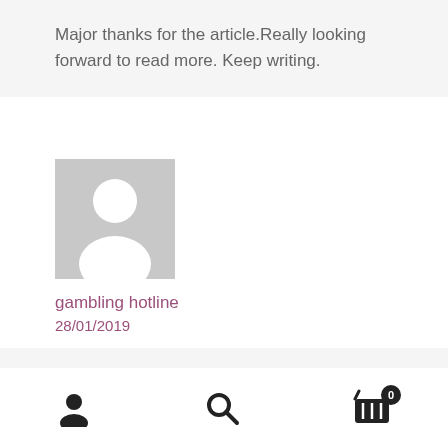Major thanks for the article.Really looking forward to read more. Keep writing.
[Figure (illustration): Gray default user avatar placeholder image showing a silhouette of a person]
gambling hotline
28/01/2019
Footer with user icon, search icon, and shopping basket icon with badge showing 0